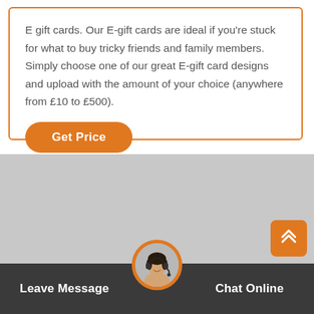E gift cards. Our E-gift cards are ideal if you're stuck for what to buy tricky friends and family members. Simply choose one of our great E-gift card designs and upload with the amount of your choice (anywhere from £10 to £500).
Get Price
[Figure (photo): Gray placeholder image area]
[Figure (photo): Orange scroll-to-top button with double chevron up arrow]
Leave Message
[Figure (photo): Circular avatar of a woman wearing a headset, surrounded by orange border]
Chat Online